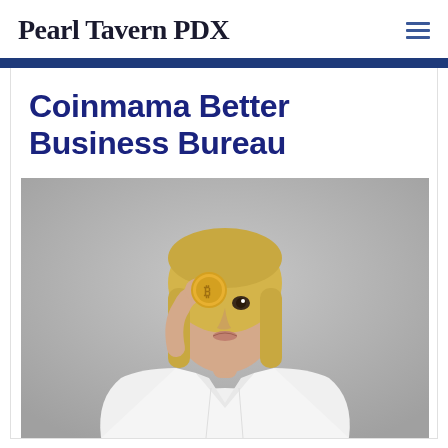Pearl Tavern PDX
Coinmama Better Business Bureau
[Figure (photo): Blonde woman in white shirt holding a gold bitcoin coin up to her eye, photographed against a gray background]